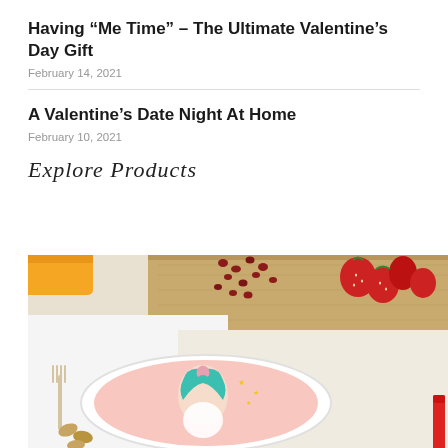Having “Me Time” – The Ultimate Valentine’s Day Gift
February 14, 2021
A Valentine’s Date Night At Home
February 10, 2021
Explore Products
[Figure (photo): A white ceramic bowl with a unicorn/fantasy girl illustration on a pink background, surrounded by strawberries, pomegranate seeds, almonds, a wooden fork, and a crayon on a wooden cutting board surface.]